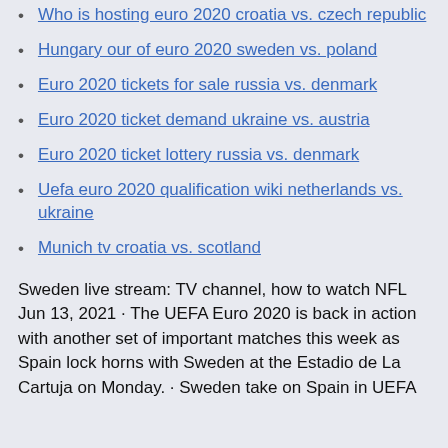Who is hosting euro 2020 croatia vs. czech republic
Hungary our of euro 2020 sweden vs. poland
Euro 2020 tickets for sale russia vs. denmark
Euro 2020 ticket demand ukraine vs. austria
Euro 2020 ticket lottery russia vs. denmark
Uefa euro 2020 qualification wiki netherlands vs. ukraine
Munich tv croatia vs. scotland
Sweden live stream: TV channel, how to watch NFL Jun 13, 2021 · The UEFA Euro 2020 is back in action with another set of important matches this week as Spain lock horns with Sweden at the Estadio de La Cartuja on Monday. · Sweden take on Spain in UEFA